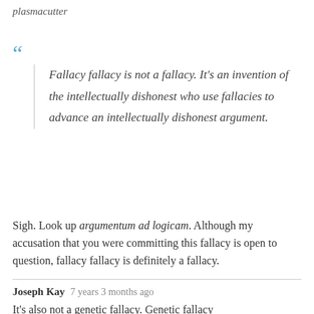plasmacutter
Fallacy fallacy is not a fallacy. It's an invention of the intellectually dishonest who use fallacies to advance an intellectually dishonest argument.
Sigh. Look up argumentum ad logicam. Although my accusation that you were committing this fallacy is open to question, fallacy fallacy is definitely a fallacy.
Joseph Kay   7 years 3 months ago
It's also not a genetic fallacy. Genetic fallacy